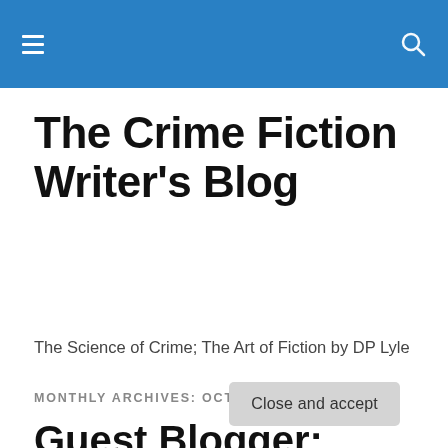The Crime Fiction Writer's Blog – navigation bar
The Crime Fiction Writer's Blog
The Science of Crime; The Art of Fiction by DP Lyle
MONTHLY ARCHIVES: OCTOBER 2011
Guest Blogger: Jodie Renner:
Privacy & Cookies: This site uses cookies. By continuing to use this website, you agree to their use.
To find out more, including how to control cookies, see here: Cookie Policy
Close and accept